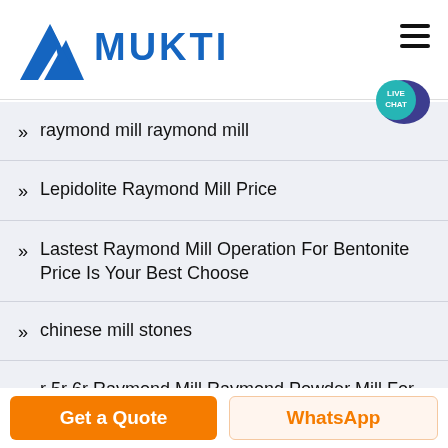MUKTI
raymond mill raymond mill
Lepidolite Raymond Mill Price
Lastest Raymond Mill Operation For Bentonite Price Is Your Best Choose
chinese mill stones
r 5r 6r Raymond Mill Raymond Powder Mill For Ores Stone Quick Lime
Get a Quote   WhatsApp